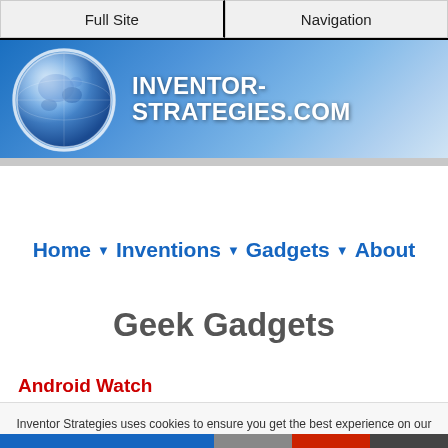Full Site | Navigation
[Figure (logo): Inventor-Strategies.com website header banner with globe icon and site name in white bold text on blue gradient background]
Home ▾ Inventions ▾ Gadgets ▾ About
Geek Gadgets
Android Watch
Inventor Strategies uses cookies to ensure you get the best experience on our website. Privacy policy.
Ok, I got it.